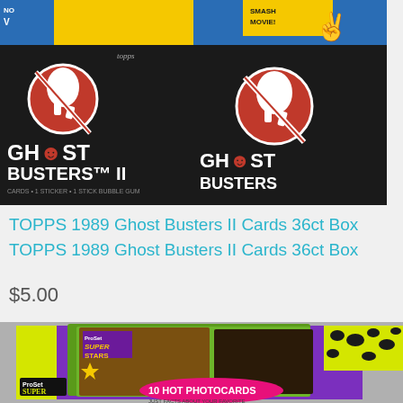[Figure (photo): Two Topps 1989 Ghost Busters II trading card packs with yellow and blue packaging showing the no-ghost logo on black background]
TOPPS 1989 Ghost Busters II Cards 36ct Box
TOPPS 1989 Ghost Busters II Cards 36ct Box
$5.00
[Figure (photo): Pro Set Super Stars MusiCards box with purple packaging, green card fan showing a female singer and male performer, yellow leopard print corner, and pink oval reading '10 HOT PHOTOCARDS']